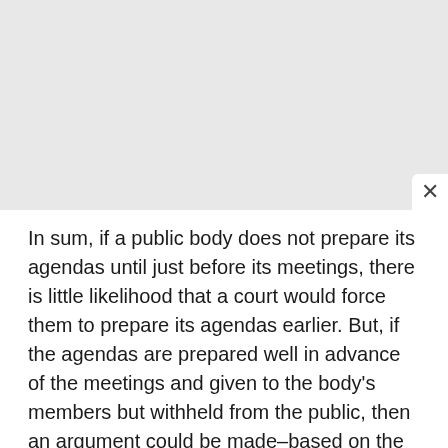In sum, if a public body does not prepare its agendas until just before its meetings, there is little likelihood that a court would force them to prepare its agendas earlier. But, if the agendas are prepared well in advance of the meetings and given to the body's members but withheld from the public, then an argument could be made–based on the Press of Atlantic City decision–that citizen or media requestors are entitled to have the agendas e-mailed or faxed to them.
I realize that the Press of Atlantic City decision